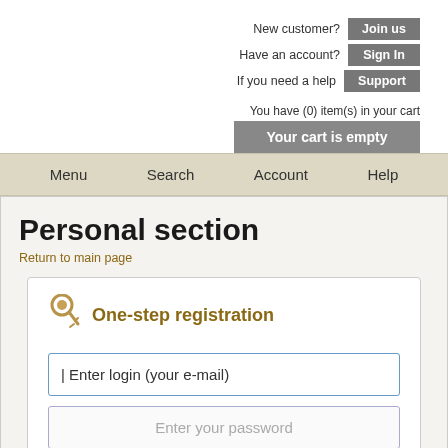New customer? [Join us] Have an account? [Sign In] If you need a help [Support] You have (0) item(s) in your cart [Your cart is empty]
Menu  Search  Account  Help
Personal section
Return to main page
One-step registration
Enter login (your e-mail)
Enter your password
Confirm your password